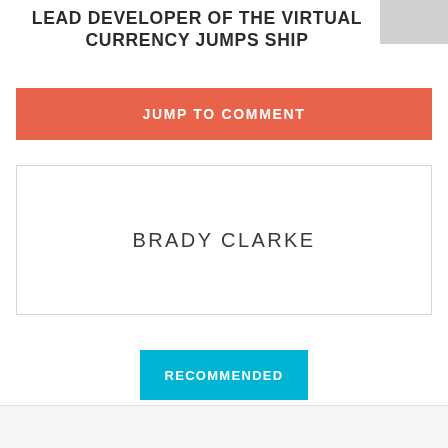LEAD DEVELOPER OF THE VIRTUAL CURRENCY JUMPS SHIP
JUMP TO COMMENT
BRADY CLARKE
RECOMMENDED